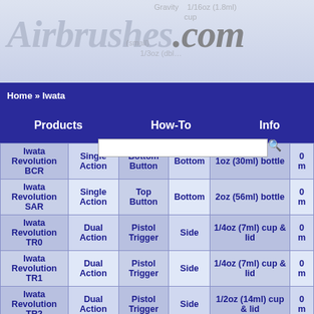[Figure (screenshot): Airbrushes.com website logo and header with faded background table data]
Home » Iwata
Products | How-To | Info
| Model | Action | Button | Feed | Cup/Bottle |  |
| --- | --- | --- | --- | --- | --- |
| Iwata Revolution BCR | Single Action | Bottom Button | Bottom | 1oz (30ml) bottle | 0 m |
| Iwata Revolution SAR | Single Action | Top Button | Bottom | 2oz (56ml) bottle | 0 m |
| Iwata Revolution TR0 | Dual Action | Pistol Trigger | Side | 1/4oz (7ml) cup & lid | 0 m |
| Iwata Revolution TR1 | Dual Action | Pistol Trigger | Side | 1/4oz (7ml) cup & lid | 0 m |
| Iwata Revolution TR2 | Dual Action | Pistol Trigger | Side | 1/2oz (14ml) cup & lid | 0 m |